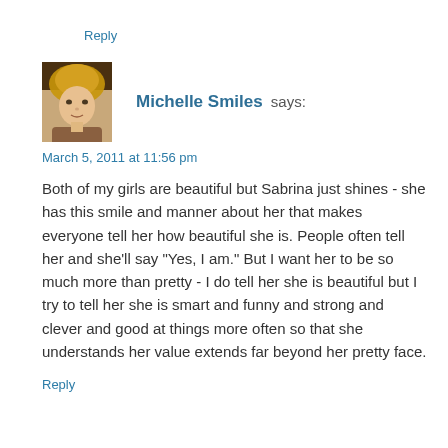Reply
[Figure (photo): Profile photo of a blonde woman]
Michelle Smiles says:
March 5, 2011 at 11:56 pm
Both of my girls are beautiful but Sabrina just shines - she has this smile and manner about her that makes everyone tell her how beautiful she is. People often tell her and she'll say "Yes, I am." But I want her to be so much more than pretty - I do tell her she is beautiful but I try to tell her she is smart and funny and strong and clever and good at things more often so that she understands her value extends far beyond her pretty face.
Reply